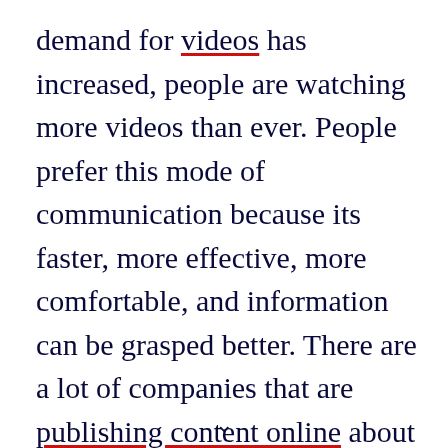demand for videos has increased, people are watching more videos than ever. People prefer this mode of communication because its faster, more effective, more comfortable, and information can be grasped better. There are a lot of companies that are publishing content online about them or their services or other topics, either through videos or by writing an article on a platform.